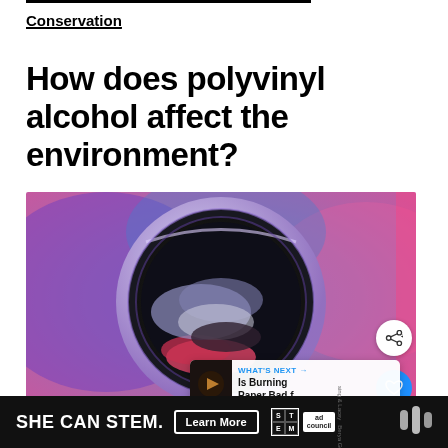Conservation
How does polyvinyl alcohol affect the environment?
[Figure (photo): Front-loading washing machine drum with clothes inside, lit with purple and pink neon lighting, viewed from front]
SHE CAN STEM. Learn More | STEM ad council